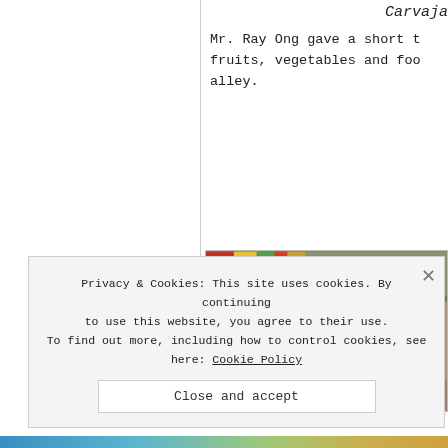Carvaja
Mr. Ray Ong gave a short t fruits, vegetables and foo alley.
[Figure (photo): Close-up photo of colorful market stall items, possibly fruits and food products viewed from below at an angle, showing bright colors and stall structure.]
Privacy & Cookies: This site uses cookies. By continuing to use this website, you agree to their use. To find out more, including how to control cookies, see here: Cookie Policy
Close and accept